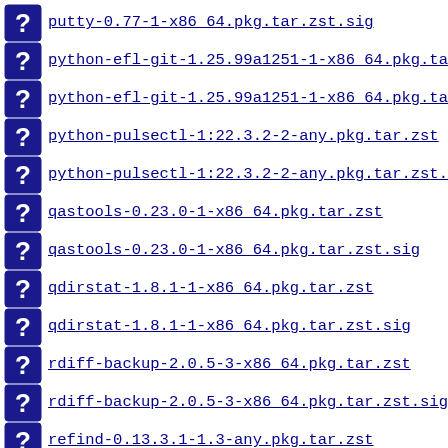putty-0.77-1-x86_64.pkg.tar.zst.sig
python-efl-git-1.25.99a1251-1-x86_64.pkg.tar.zst
python-efl-git-1.25.99a1251-1-x86_64.pkg.tar.zst.
python-pulsectl-1:22.3.2-2-any.pkg.tar.zst
python-pulsectl-1:22.3.2-2-any.pkg.tar.zst.sig
qastools-0.23.0-1-x86_64.pkg.tar.zst
qastools-0.23.0-1-x86_64.pkg.tar.zst.sig
qdirstat-1.8.1-1-x86_64.pkg.tar.zst
qdirstat-1.8.1-1-x86_64.pkg.tar.zst.sig
rdiff-backup-2.0.5-3-x86_64.pkg.tar.zst
rdiff-backup-2.0.5-3-x86_64.pkg.tar.zst.sig
refind-0.13.3.1-1.3-any.pkg.tar.zst
refind-0.13.3.1-1.3-any.pkg.tar.zst.sig
refind-docs-0.13.3.1-1.2-any.pkg.tar.zst
refind-docs-0.13.3.1-1.2-any.pkg.tar.zst.sig
remmina-1:1.4.27-1-x86_64.pkg.tar.zst
remmina-1:1.4.27-1-x86_64.pkg.tar.zst.sig